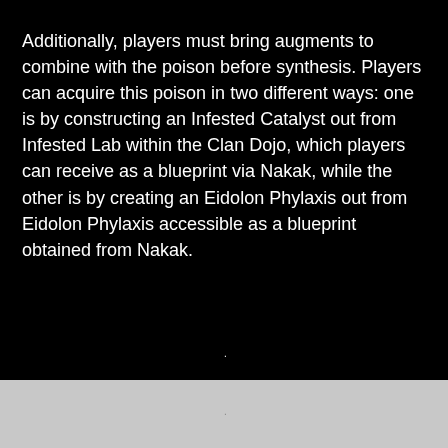Additionally, players must bring augments to combine with the poison before synthesis. Players can acquire this poison in two different ways: one is by constructing an Infested Catalyst out from Infested Lab within the Clan Dojo, which players can receive as a blueprint via Nakak, while the other is by creating an Eidolon Phylaxis out from Eidolon Phylaxis accessible as a blueprint obtained from Nakak.